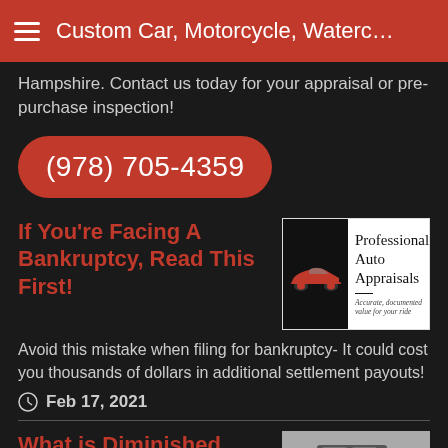Custom Car, Motorcycle, Waterc…
Hampshire. Contact us today for your appraisal or pre-purchase inspection!
(978) 705-4359
If You're Facing A Bankruptcy, Read This First!
[Figure (logo): Professional Auto Appraisals logo — black panel with red car silhouette on left, text 'Professional Auto Appraisals' on right with tagline 'Accurate, documented value for your ride']
Avoid this mistake when filing for bankruptcy- It could cost you thousands of dollars in additional settlement payouts!
Feb 17, 2021
What is Diminished